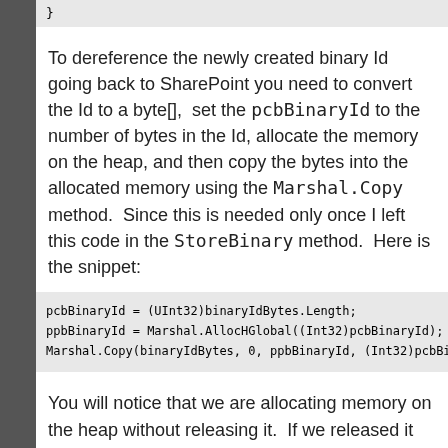}
To dereference the newly created binary Id going back to SharePoint you need to convert the Id to a byte[],  set the pcbBinaryId to the number of bytes in the Id, allocate the memory on the heap, and then copy the bytes into the allocated memory using the Marshal.Copy method.  Since this is needed only once I left this code in the StoreBinary method.  Here is the snippet:
pcbBinaryId = (UInt32)binaryIdBytes.Length;
ppbBinaryId = Marshal.AllocHGlobal((Int32)pcbBinaryId);
Marshal.Copy(binaryIdBytes, 0, ppbBinaryId, (Int32)pcbBinaryId);
You will notice that we are allocating memory on the heap without releasing it.  If we released it